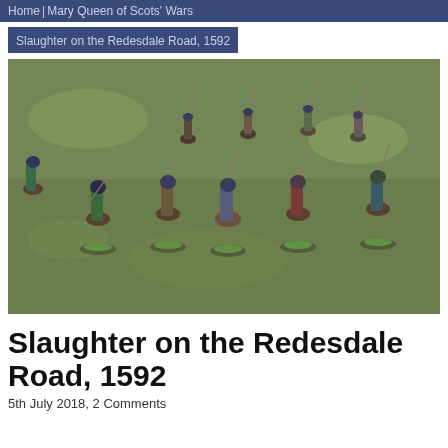Home | Mary Queen of Scots' Wars
Slaughter on the Redesdale Road, 1592
[Figure (photo): Photograph of painted miniature cavalry figures on horseback, arranged on a green felt gaming surface. The miniatures appear to be 15mm or 28mm scale soldiers with lances and swords, painted in various colors including blue, red, and green.]
Slaughter on the Redesdale Road, 1592
5th July 2018, 2 Comments